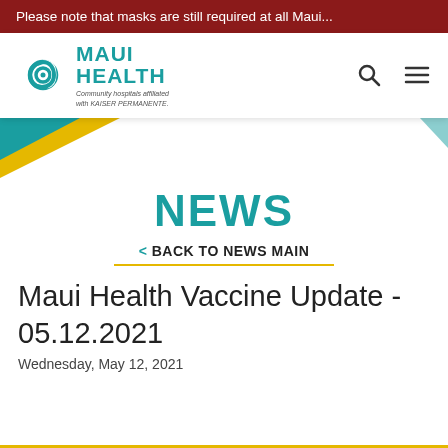Please note that masks are still required at all Maui...
[Figure (logo): Maui Health logo with teal spiral icon and text 'MAUI HEALTH Community hospitals affiliated with KAISER PERMANENTE.']
NEWS
< BACK TO NEWS MAIN
Maui Health Vaccine Update - 05.12.2021
Wednesday, May 12, 2021